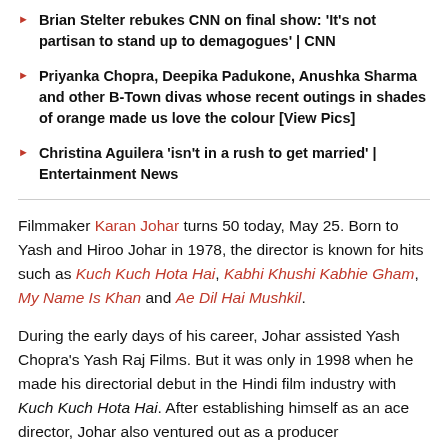Brian Stelter rebukes CNN on final show: 'It's not partisan to stand up to demagogues' | CNN
Priyanka Chopra, Deepika Padukone, Anushka Sharma and other B-Town divas whose recent outings in shades of orange made us love the colour [View Pics]
Christina Aguilera 'isn't in a rush to get married' | Entertainment News
Filmmaker Karan Johar turns 50 today, May 25. Born to Yash and Hiroo Johar in 1978, the director is known for hits such as Kuch Kuch Hota Hai, Kabhi Khushi Kabhie Gham, My Name Is Khan and Ae Dil Hai Mushkil.
During the early days of his career, Johar assisted Yash Chopra's Yash Raj Films. But it was only in 1998 when he made his directorial debut in the Hindi film industry with Kuch Kuch Hota Hai. After establishing himself as an ace director, Johar also ventured out as a producer.